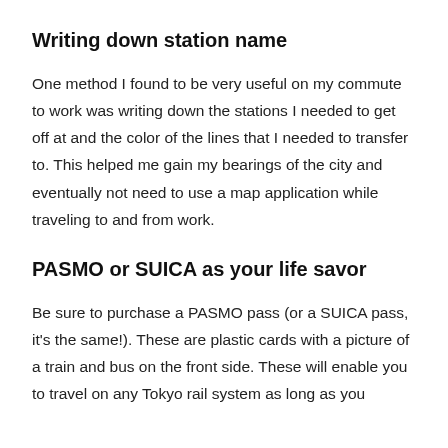Writing down station name
One method I found to be very useful on my commute to work was writing down the stations I needed to get off at and the color of the lines that I needed to transfer to. This helped me gain my bearings of the city and eventually not need to use a map application while traveling to and from work.
PASMO or SUICA as your life savor
Be sure to purchase a PASMO pass (or a SUICA pass, it's the same!). These are plastic cards with a picture of a train and bus on the front side. These will enable you to travel on any Tokyo rail system as long as you